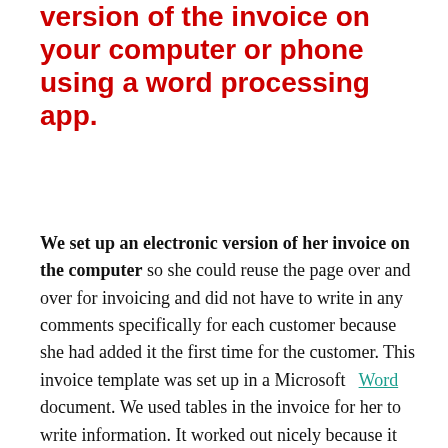version of the invoice on your computer or phone using a word processing app.
We set up an electronic version of her invoice on the computer so she could reuse the page over and over for invoicing and did not have to write in any comments specifically for each customer because she had added it the first time for the customer. This invoice template was set up in a Microsoft Word document. We used tables in the invoice for her to write information. It worked out nicely because it kept all the content organized. Each client